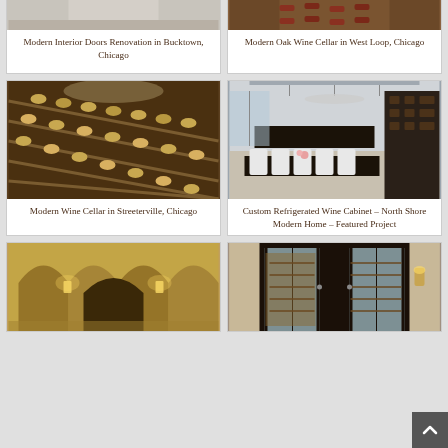[Figure (photo): Interior door renovation photo — partial view at top of page]
Modern Interior Doors Renovation in Bucktown, Chicago
[Figure (photo): Oak wine cellar with bottles on wooden racks — partial view at top]
Modern Oak Wine Cellar in West Loop, Chicago
[Figure (photo): Wine cellar in Streeterville with floor-to-ceiling angled wooden racks filled with bottles]
Modern Wine Cellar in Streeterville, Chicago
[Figure (photo): Custom refrigerated wine cabinet — dining room with dark table, white chairs, chandelier, and wine storage wall]
Custom Refrigerated Wine Cabinet – North Shore Modern Home – Featured Project
[Figure (photo): Gothic stone arched entryway with decorative lanterns — partial view at bottom]
[Figure (photo): Glass door wine cellar entrance with dark frame — partial view at bottom]